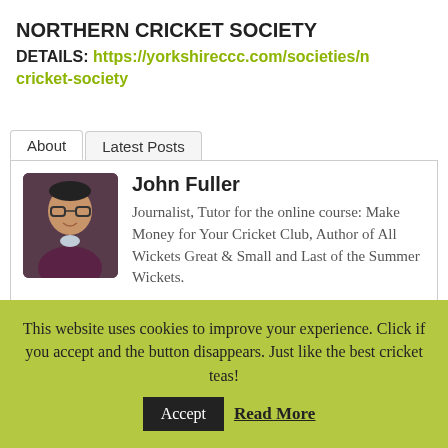NORTHERN CRICKET SOCIETY
DETAILS: https://yorkshireccc.com/societies/northern-cricket-society
[Figure (screenshot): Tab interface with 'About' and 'Latest Posts' tabs; About tab active showing author card]
[Figure (photo): Headshot of John Fuller, a man with glasses and dark sweater, smiling]
John Fuller
Journalist, Tutor for the online course: Make Money for Your Cricket Club, Author of All Wickets Great & Small and Last of the Summer Wickets.
This website uses cookies to improve your experience. Click if you accept and the button disappears. Just like the best cricket teas!